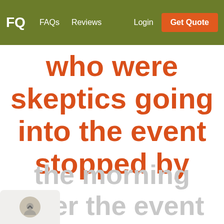FQ  FAQs  Reviews  Login  Get Quote
who were skeptics going into the event stopped by
the morning after the event and admitted that they had a great time.